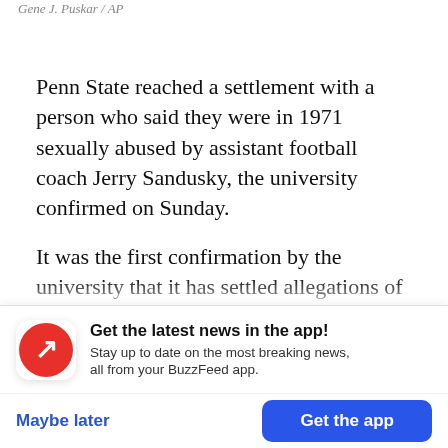Gene J. Puskar / AP
Penn State reached a settlement with a person who said they were in 1971 sexually abused by assistant football coach Jerry Sandusky, the university confirmed on Sunday.
It was the first confirmation by the university that it has settled allegations of sexual abuse dating back to the earliest years of Sandusky's career. Several men have previously said they were abused
Get the latest news in the app! Stay up to date on the most breaking news, all from your BuzzFeed app.
Maybe later
Get the app